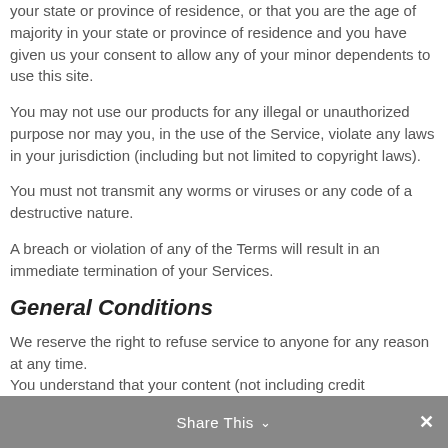your state or province of residence, or that you are the age of majority in your state or province of residence and you have given us your consent to allow any of your minor dependents to use this site.
You may not use our products for any illegal or unauthorized purpose nor may you, in the use of the Service, violate any laws in your jurisdiction (including but not limited to copyright laws).
You must not transmit any worms or viruses or any code of a destructive nature.
A breach or violation of any of the Terms will result in an immediate termination of your Services.
General Conditions
We reserve the right to refuse service to anyone for any reason at any time.
You understand that your content (not including credit
Share This ∨  ✕